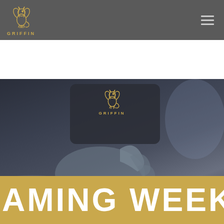GRIFFIN — navigation header with logo and hamburger menu
[Figure (photo): Dark photograph of hands holding a device with Griffin logo watermark overlaid, above a gold banner reading 'GAMING WEEKL' (partially cropped)]